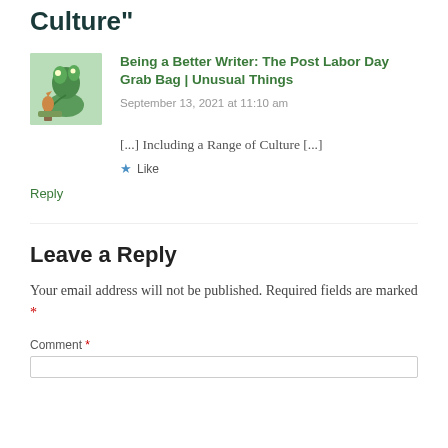Culture"
[Figure (illustration): Small thumbnail image showing a fantasy illustration with a dragon or green creature and a human figure against a landscape background.]
Being a Better Writer: The Post Labor Day Grab Bag | Unusual Things
September 13, 2021 at 11:10 am
[...] Including a Range of Culture [...]
★ Like
Reply
Leave a Reply
Your email address will not be published. Required fields are marked *
Comment *